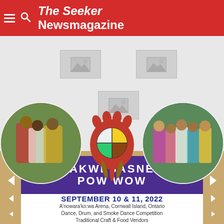The Seeker Newsmagazine Cornwall
[Figure (photo): Event poster for Akwesasne Pow Wow featuring Indigenous dancers in regalia, a beaded turtle emblem, and children in traditional dress. Purple banner reads AKWESASNE POW WOW. September 10 & 11, 2022. A'nowara'ko:wa Arena, Cornwall Island, Ontario. Dance, Drum, and Smoke Dance Competition. Traditional Craft & Food Vendors.]
SEPTEMBER 10 & 11, 2022
A'nowara'ko:wa Arena, Cornwall Island, Ontario
Dance, Drum, and Smoke Dance Competition
Traditional Craft & Food Vendors